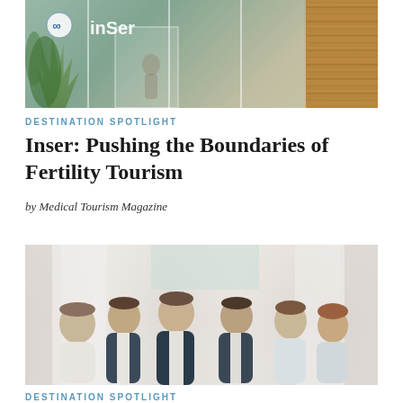[Figure (photo): Exterior of InSer fertility clinic showing glass facade with InSer logo, tropical plants, and wood-paneled wall]
DESTINATION SPOTLIGHT
Inser: Pushing the Boundaries of Fertility Tourism
by Medical Tourism Magazine
[Figure (photo): Group photo of six medical professionals (doctors and staff) posing together in a bright, white clinical setting with curtains in background]
DESTINATION SPOTLIGHT